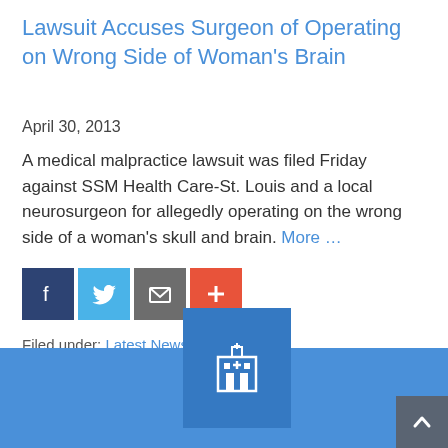Lawsuit Accuses Surgeon of Operating on Wrong Side of Woman's Brain
April 30, 2013
A medical malpractice lawsuit was filed Friday against SSM Health Care-St. Louis and a local neurosurgeon for allegedly operating on the wrong side of a woman's skull and brain. More …
[Figure (other): Social sharing buttons: Facebook, Twitter, Email, and a red plus/share button]
Filed under: Latest News
← Previous Post    Next Post →
[Figure (other): Blue footer area with a darker blue card showing a hospital/building icon, and a dark grey scroll-to-top button with upward arrow]